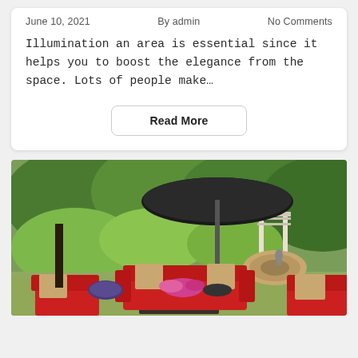June 10, 2021   By admin   No Comments
Illumination an area is essential since it helps you to boost the elegance from the space. Lots of people make…
Read More
[Figure (photo): Outdoor backyard patio scene with red cushioned furniture set including a sofa and chairs with decorative pillows, a coffee table, and a large black patio umbrella. Background features lush green garden with trees, plants, and a white pergola structure with a circular stone feature and garden statue.]